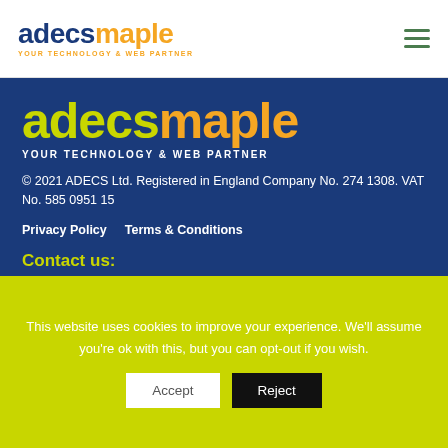[Figure (logo): adecsmaple logo with tagline YOUR TECHNOLOGY & WEB PARTNER in header]
[Figure (logo): adecsmaple large logo in footer with tagline YOUR TECHNOLOGY & WEB PARTNER]
© 2021 ADECS Ltd. Registered in England Company No. 274 1308. VAT No. 585 0951 15
Privacy Policy    Terms & Conditions
Contact us:
Coventry University
This website uses cookies to improve your experience. We'll assume you're ok with this, but you can opt-out if you wish.